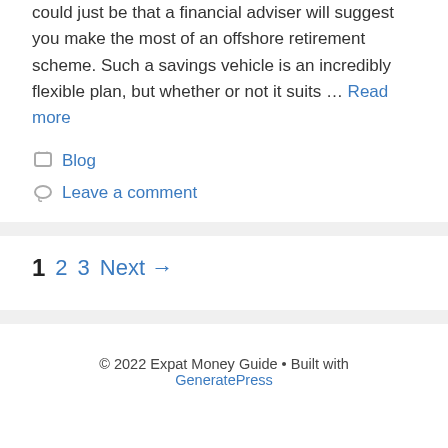could just be that a financial adviser will suggest you make the most of an offshore retirement scheme. Such a savings vehicle is an incredibly flexible plan, but whether or not it suits … Read more
Blog
Leave a comment
1  2  3  Next →
© 2022 Expat Money Guide • Built with GeneratePress